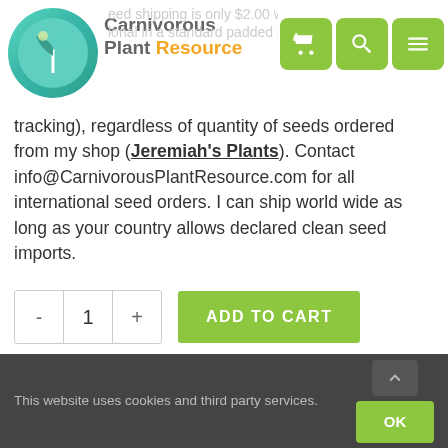Carnivorous Plant Resource
tracking), regardless of quantity of seeds ordered from my shop (Jeremiah's Plants). Contact info@CarnivorousPlantResource.com for all international seed orders. I can ship world wide as long as your country allows declared clean seed imports.
- 1 + ADD TO CART
Sold By: Jeremiah's Plants
Categories: Carnivorous Plant Seeds, Carnivorous Plants for Sale, Dionaea muscipula seed, Venus Flytrap
This website uses cookies and third party services.